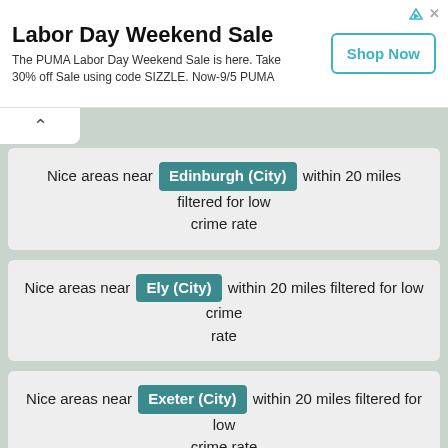[Figure (screenshot): PUMA Labor Day Weekend Sale advertisement banner with Shop Now button]
Nice areas near Edinburgh (City) within 20 miles filtered for low crime rate
Nice areas near Ely (City) within 20 miles filtered for low crime rate
Nice areas near Exeter (City) within 20 miles filtered for low crime rate
Nice areas near Glasgow (City) within 20 miles filtered for low crime rate